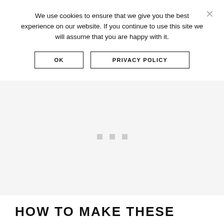We use cookies to ensure that we give you the best experience on our website. If you continue to use this site we will assume that you are happy with it.
OK
PRIVACY POLICY
[Figure (other): Loading placeholder area with three small grey squares arranged horizontally on a light grey background]
HOW TO MAKE THESE